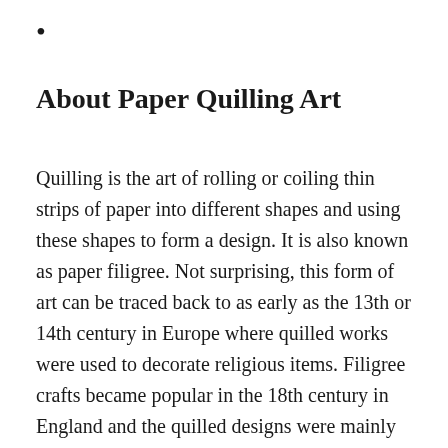•
About Paper Quilling Art
Quilling is the art of rolling or coiling thin strips of paper into different shapes and using these shapes to form a design. It is also known as paper filigree. Not surprising, this form of art can be traced back to as early as the 13th or 14th century in Europe where quilled works were used to decorate religious items. Filigree crafts became popular in the 18th century in England and the quilled designs were mainly used as part of the decorations on other crafts, household items and furniture.